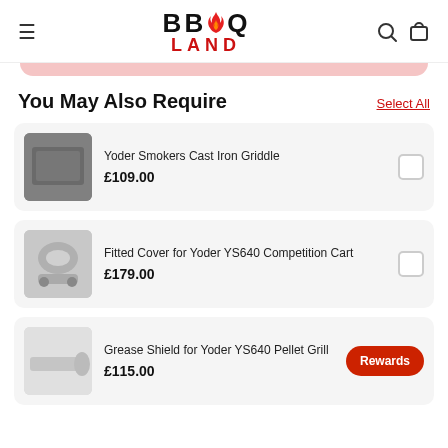BBQ LAND
You May Also Require
Select All
[Figure (photo): Yoder Smokers Cast Iron Griddle product image - dark grey rectangular cast iron griddle]
Yoder Smokers Cast Iron Griddle
£109.00
[Figure (photo): Fitted Cover for Yoder YS640 Competition Cart product image - grey fitted cover]
Fitted Cover for Yoder YS640 Competition Cart
£179.00
[Figure (photo): Grease Shield for Yoder YS640 Pellet Grill product image - white rolled grease shield]
Grease Shield for Yoder YS640 Pellet Grill
£115.00